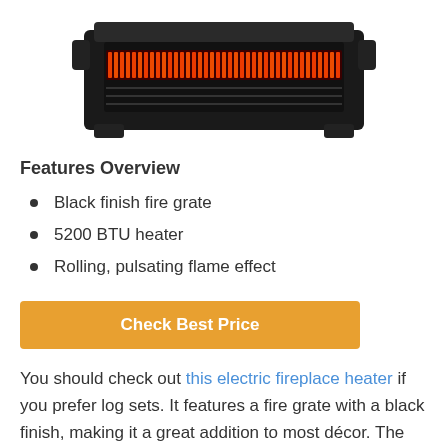[Figure (photo): Black electric fireplace heater with glowing red infrared heating element visible through grate, dark finish]
Features Overview
Black finish fire grate
5200 BTU heater
Rolling, pulsating flame effect
Check Best Price
You should check out this electric fireplace heater if you prefer log sets. It features a fire grate with a black finish, making it a great addition to most décor. The realistic log set, glowing ember bed, and dancing flames are part of what makes it a worthwhile